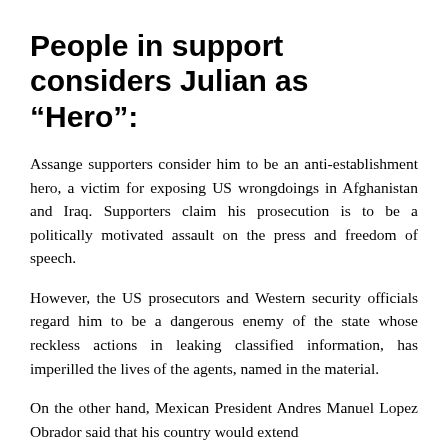People in support considers Julian as “Hero”:
Assange supporters consider him to be an anti-establishment hero, a victim for exposing US wrongdoings in Afghanistan and Iraq. Supporters claim his prosecution is to be a politically motivated assault on the press and freedom of speech.
However, the US prosecutors and Western security officials regard him to be a dangerous enemy of the state whose reckless actions in leaking classified information, has imperilled the lives of the agents, named in the material.
On the other hand, Mexican President Andres Manuel Lopez Obrador said that his country would extend